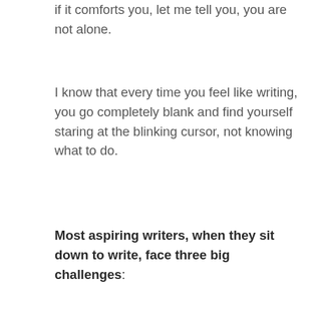if it comforts you, let me tell you, you are not alone.
I know that every time you feel like writing, you go completely blank and find yourself staring at the blinking cursor, not knowing what to do.
Most aspiring writers, when they sit down to write, face three big challenges:
[Figure (logo): Orange circular logo with white bracket-style icon containing letters WC and W arranged in a 2x2 grid pattern on a cream/beige background card]